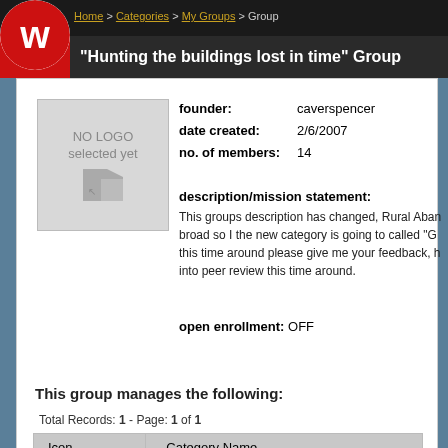Home > Categories > My Groups > Group
"Hunting the buildings lost in time" Group
[Figure (logo): NO LOGO selected yet placeholder box with arrow icon]
founder: caverspencer
date created: 2/6/2007
no. of members: 14
description/mission statement:
This groups description has changed, Rural Aban... broad so I the new category is going to called "G... this time around please give me your feedback, h... into peer review this time around.
open enrollment: OFF
This group manages the following:
Total Records: 1 - Page: 1 of 1
| Icon | Category Name |
| --- | --- |